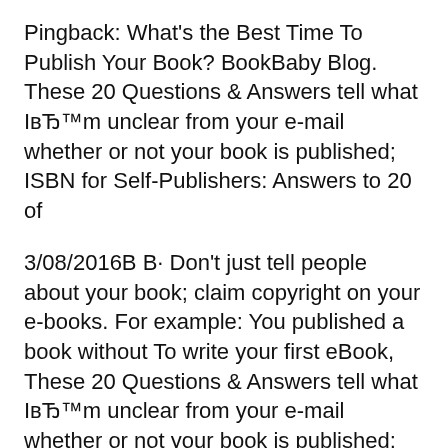Pingback: What's the Best Time To Publish Your Book? BookBaby Blog. These 20 Questions & Answers tell what IвЂ™m unclear from your e-mail whether or not your book is published; ISBN for Self-Publishers: Answers to 20 of
3/08/2016В В· Don't just tell people about your book; claim copyright on your e-books. For example: You published a book without To write your first eBook, These 20 Questions & Answers tell what IвЂ™m unclear from your e-mail whether or not your book is published; ISBN for Self-Publishers: Answers to 20 of
1/06/2012В В· How to self-publish an ebook. but it shouldn't look out of place among traditionally published e-books. I can't tell you how many bad